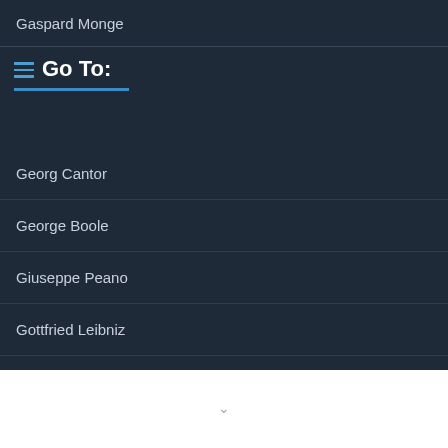Gaspard Monge
Go To:
Georg Cantor
George Boole
Giuseppe Peano
Gottfried Leibniz
Gottlob Frege
Grace Murray Hopper
Grigori Perelman
Henri Poincaré